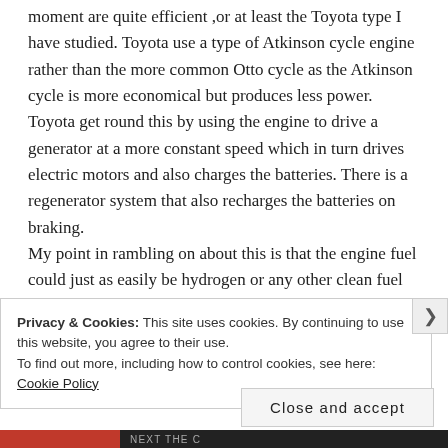moment are quite efficient ,or at least the Toyota type I have studied. Toyota use a type of Atkinson cycle engine rather than the more common Otto cycle as the Atkinson cycle is more economical but produces less power. Toyota get round this by using the engine to drive a generator at a more constant speed which in turn drives electric motors and also charges the batteries. There is a regenerator system that also recharges the batteries on braking.
My point in rambling on about this is that the engine fuel could just as easily be hydrogen or any other clean fuel produced from using surplus renewable electrical energy. The future is re-newable.
Privacy & Cookies: This site uses cookies. By continuing to use this website, you agree to their use.
To find out more, including how to control cookies, see here: Cookie Policy
Close and accept
NEXT THE C